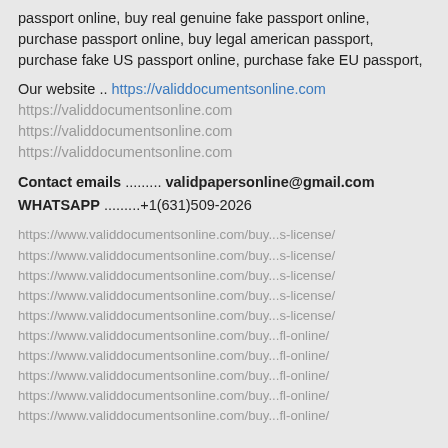passport online, buy real genuine fake passport online, purchase passport online, buy legal american passport, purchase fake US passport online, purchase fake EU passport,
Our website .. https://validdocumentsonline.com
https://validdocumentsonline.com
https://validdocumentsonline.com
https://validdocumentsonline.com
Contact emails ......... validpapersonline@gmail.com
WHATSAPP .........+1(631)509-2026
https://www.validdocumentsonline.com/buy...s-license/
https://www.validdocumentsonline.com/buy...s-license/
https://www.validdocumentsonline.com/buy...s-license/
https://www.validdocumentsonline.com/buy...s-license/
https://www.validdocumentsonline.com/buy...s-license/
https://www.validdocumentsonline.com/buy...fl-online/
https://www.validdocumentsonline.com/buy...fl-online/
https://www.validdocumentsonline.com/buy...fl-online/
https://www.validdocumentsonline.com/buy...fl-online/
https://www.validdocumentsonline.com/buy...fl-online/